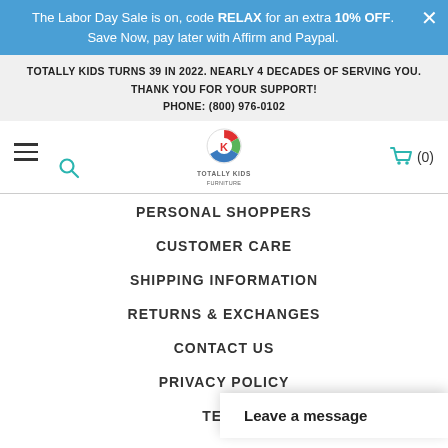The Labor Day Sale is on, code RELAX for an extra 10% OFF. Save Now, pay later with Affirm and Paypal.
TOTALLY KIDS TURNS 39 IN 2022. NEARLY 4 DECADES OF SERVING YOU. THANK YOU FOR YOUR SUPPORT! PHONE: (800) 976-0102
[Figure (logo): Totally Kids Furniture logo with colorful circular icon and text]
PERSONAL SHOPPERS
CUSTOMER CARE
SHIPPING INFORMATION
RETURNS & EXCHANGES
CONTACT US
PRIVACY POLICY
TERM
Leave a message